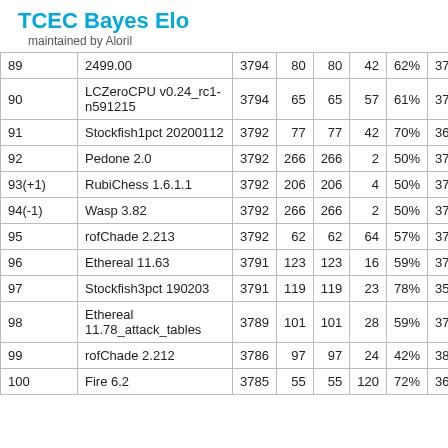TCEC Bayes Elo
maintained by Aloril
| # | Engine | Elo | Games | Unique | Opponents | % | Rank |
| --- | --- | --- | --- | --- | --- | --- | --- |
| 89 | 2499.00 | 3794 | 80 | 80 | 42 | 62% | 37 |
| 90 | LCZeroCPU v0.24_rc1-n591215 | 3794 | 65 | 65 | 57 | 61% | 37 |
| 91 | Stockfish1pct 20200112 | 3792 | 77 | 77 | 42 | 70% | 36 |
| 92 | Pedone 2.0 | 3792 | 266 | 266 | 2 | 50% | 37 |
| 93(+1) | RubiChess 1.6.1.1 | 3792 | 206 | 206 | 4 | 50% | 37 |
| 94(-1) | Wasp 3.82 | 3792 | 266 | 266 | 2 | 50% | 37 |
| 95 | rofChade 2.213 | 3792 | 62 | 62 | 64 | 57% | 37 |
| 96 | Ethereal 11.63 | 3791 | 123 | 123 | 16 | 59% | 37 |
| 97 | Stockfish3pct 190203 | 3791 | 119 | 119 | 23 | 78% | 35 |
| 98 | Ethereal 11.78_attack_tables | 3789 | 101 | 101 | 28 | 59% | 37 |
| 99 | rofChade 2.212 | 3786 | 97 | 97 | 24 | 42% | 38 |
| 100 | Fire 6.2 | 3785 | 55 | 55 | 120 | 72% | 36 |